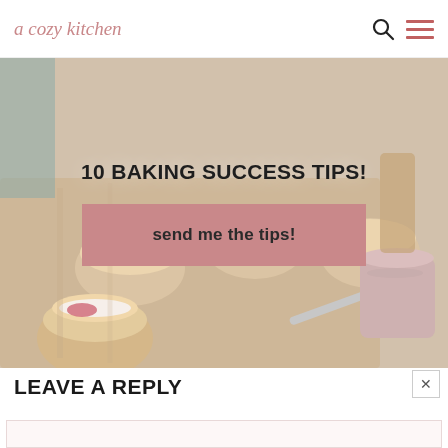a cozy kitchen
[Figure (photo): Food photo showing scones with strawberries and cream on a wooden board, with a knife and small cup of seeds. Overlaid with text '10 BAKING SUCCESS TIPS!' and a dusty rose button 'send me the tips!']
10 BAKING SUCCESS TIPS!
send me the tips!
LEAVE A REPLY